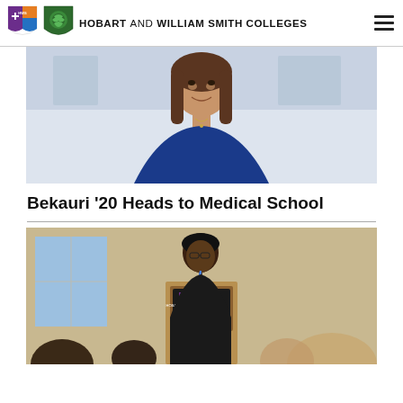HOBART AND WILLIAM SMITH COLLEGES
[Figure (photo): Portrait photo of a young woman with brown hair wearing a blue top, smiling, in an indoor setting]
Bekauri '20 Heads to Medical School
[Figure (photo): Photo of a woman speaking at a podium with a Hobart and William Smith Colleges sign, addressing an audience]